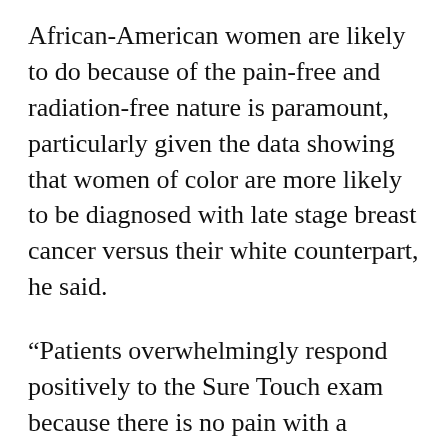African-American women are likely to do because of the pain-free and radiation-free nature is paramount, particularly given the data showing that women of color are more likely to be diagnosed with late stage breast cancer versus their white counterpart, he said.
“Patients overwhelmingly respond positively to the Sure Touch exam because there is no pain with a soothing technique,” Smith said.
“The medical community is excited about the transformational potential of Sure Touch. It’s easy to use and could potentially dramatically impact the disparities in breast